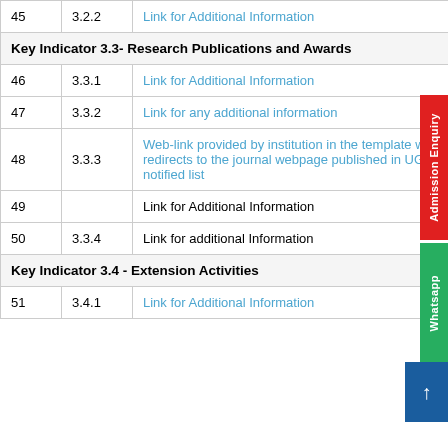| # | Code | Link |
| --- | --- | --- |
| 45 | 3.2.2 | Link for Additional Information |
| Key Indicator 3.3- Research Publications and Awards |  |  |
| 46 | 3.3.1 | Link for Additional Information |
| 47 | 3.3.2 | Link for any additional information |
| 48 | 3.3.3 | Web-link provided by institution in the template which redirects to the journal webpage published in UGC notified list |
| 49 |  | Link for Additional Information |
| 50 | 3.3.4 | Link for additional Information |
| Key Indicator 3.4 - Extension Activities |  |  |
| 51 | 3.4.1 | Link for Additional Information |